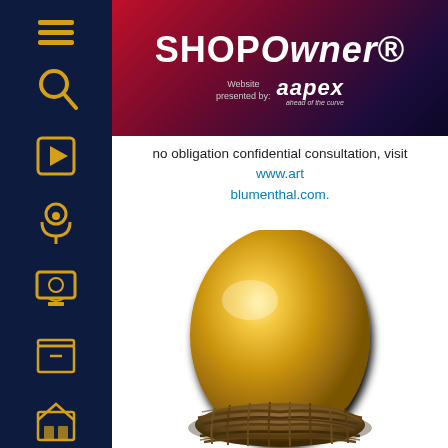SHOPOWNER - Website presented by: aapex ahead of the curve
no obligation confidential consultation, visit www.artblumenthal.com.
[Figure (photo): A large golden egg sitting in a brown woven nest, on a white background. The egg is shiny and metallic gold in color.]